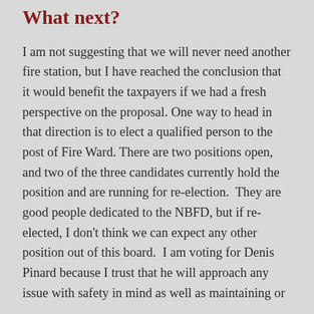What next?
I am not suggesting that we will never need another fire station, but I have reached the conclusion that it would benefit the taxpayers if we had a fresh perspective on the proposal. One way to head in that direction is to elect a qualified person to the post of Fire Ward. There are two positions open, and two of the three candidates currently hold the position and are running for re-election.  They are good people dedicated to the NBFD, but if re-elected, I don't think we can expect any other position out of this board.  I am voting for Denis Pinard because I trust that he will approach any issue with safety in mind as well as maintaining or